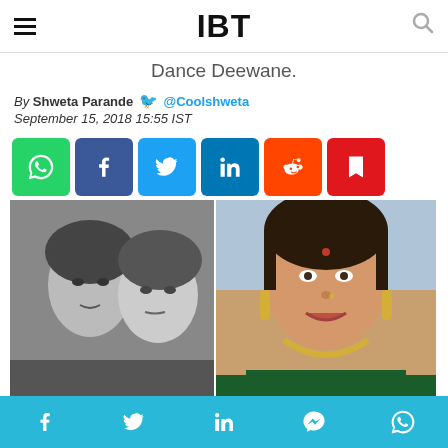IBT
Dance Deewane.
By Shweta Parande @Coolshweta
September 15, 2018 15:55 IST
[Figure (other): Social media share buttons: WhatsApp, Facebook, Twitter, LinkedIn, Reddit, Save]
[Figure (photo): Two photos side by side: left is a black-and-white selfie of two young women; right is a color photo of a smiling woman wearing traditional Indian jewelry and a red bindi.]